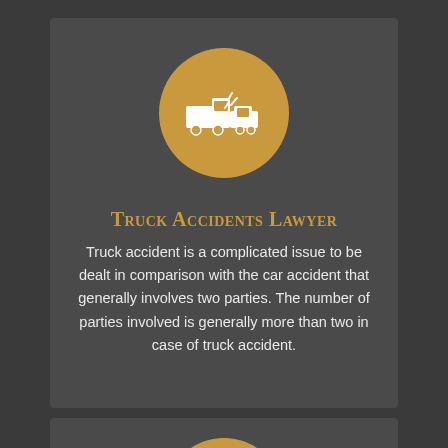[Figure (illustration): Gold circle with white truck collision icon]
Truck Accidents Lawyer
Truck accident is a complicated issue to be dealt in comparison with the car accident that generally involves two parties. The number of parties involved is generally more than two in case of truck accident.
[Figure (illustration): Gold circle with white lawyer/scales icon partially visible at bottom]